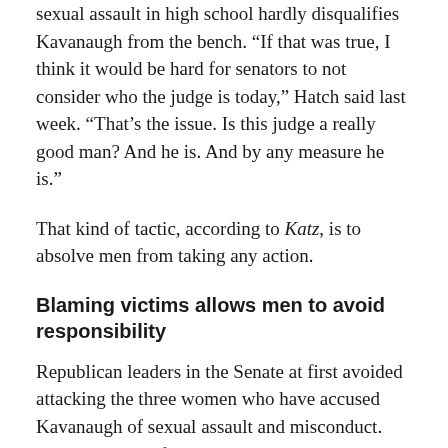sexual assault in high school hardly disqualifies Kavanaugh from the bench. “If that was true, I think it would be hard for senators to not consider who the judge is today,” Hatch said last week. “That’s the issue. Is this judge a really good man? And he is. And by any measure he is.”
That kind of tactic, according to Katz, is to absolve men from taking any action.
Blaming victims allows men to avoid responsibility
Republican leaders in the Senate at first avoided attacking the three women who have accused Kavanaugh of sexual assault and misconduct. But now some of them are downplaying their allegations and trying to shift blame to the victims.